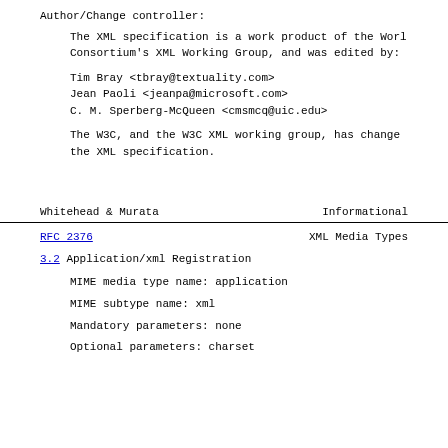Author/Change controller:
The XML specification is a work product of the World Wide Web Consortium's XML Working Group, and was edited by:
Tim Bray <tbray@textuality.com>
Jean Paoli <jeanpa@microsoft.com>
C. M. Sperberg-McQueen <cmsmcq@uic.edu>
The W3C, and the W3C XML working group, has changed the XML specification.
Whitehead & Murata                    Informational
RFC 2376                         XML Media Types
3.2 Application/xml Registration
MIME media type name: application
MIME subtype name: xml
Mandatory parameters: none
Optional parameters: charset